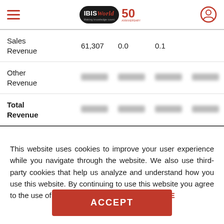[Figure (logo): IBISWorld logo with 50th anniversary mark and hamburger menu and user icon in header]
|  |  |  |  |
| --- | --- | --- | --- |
| Sales Revenue | 61,307 | 0.0 | 0.1 |
| Other Revenue | [blurred] | [blurred] | [blurred] |
| Total Revenue | [blurred] | [blurred] | [blurred] |
This website uses cookies to improve your user experience while you navigate through the website. We also use third-party cookies that help us analyze and understand how you use this website. By continuing to use this website you agree to the use of these technologies. LEARN MORE
ACCEPT